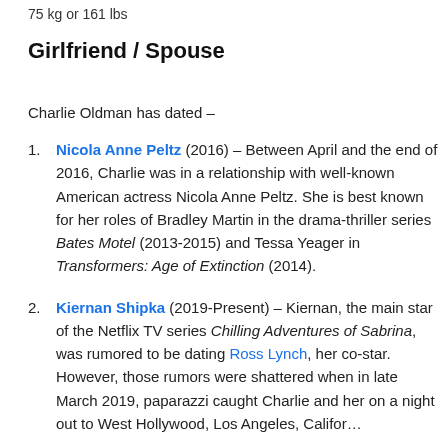75 kg or 161 lbs
Girlfriend / Spouse
Charlie Oldman has dated –
Nicola Anne Peltz (2016) – Between April and the end of 2016, Charlie was in a relationship with well-known American actress Nicola Anne Peltz. She is best known for her roles of Bradley Martin in the drama-thriller series Bates Motel (2013-2015) and Tessa Yeager in Transformers: Age of Extinction (2014).
Kiernan Shipka (2019-Present) – Kiernan, the main star of the Netflix TV series Chilling Adventures of Sabrina, was rumored to be dating Ross Lynch, her co-star. However, those rumors were shattered when in late March 2019, paparazzi caught Charlie and her on a night out to West Hollywood, Los Angeles, California.